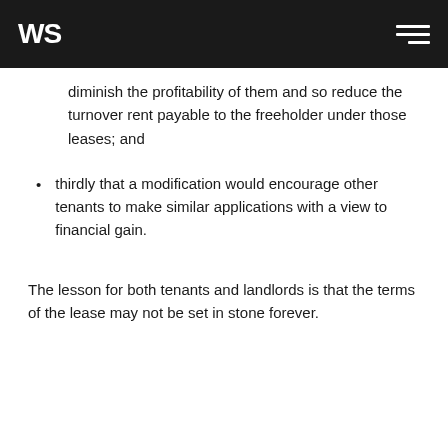WS
diminish the profitability of them and so reduce the turnover rent payable to the freeholder under those leases; and
thirdly that a modification would encourage other tenants to make similar applications with a view to financial gain.
The lesson for both tenants and landlords is that the terms of the lease may not be set in stone forever.